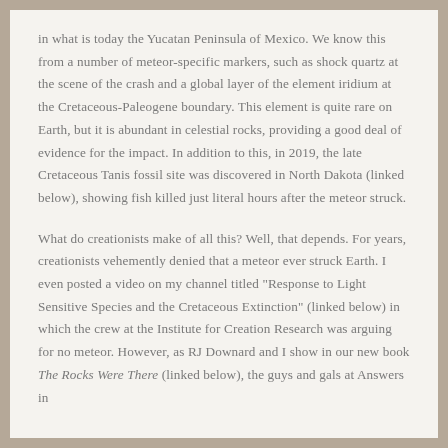in what is today the Yucatan Peninsula of Mexico. We know this from a number of meteor-specific markers, such as shock quartz at the scene of the crash and a global layer of the element iridium at the Cretaceous-Paleogene boundary. This element is quite rare on Earth, but it is abundant in celestial rocks, providing a good deal of evidence for the impact. In addition to this, in 2019, the late Cretaceous Tanis fossil site was discovered in North Dakota (linked below), showing fish killed just literal hours after the meteor struck.
What do creationists make of all this? Well, that depends. For years, creationists vehemently denied that a meteor ever struck Earth. I even posted a video on my channel titled "Response to Light Sensitive Species and the Cretaceous Extinction" (linked below) in which the crew at the Institute for Creation Research was arguing for no meteor. However, as RJ Downard and I show in our new book The Rocks Were There (linked below), the guys and gals at Answers in